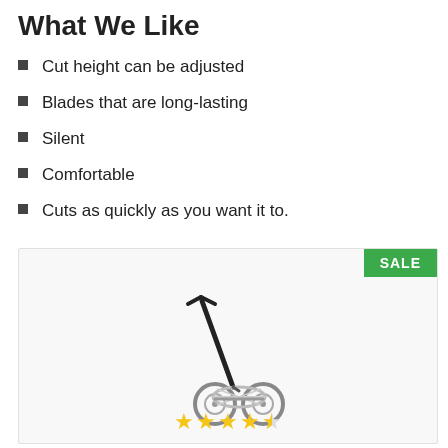What We Like
Cut height can be adjusted
Blades that are long-lasting
Silent
Comfortable
Cuts as quickly as you want it to.
[Figure (photo): Push reel lawn mower with black handle and silver blades/wheels, shown on white background. Has a SALE badge in green in top right corner. Star rating (4 out of 5 stars) shown at bottom.]